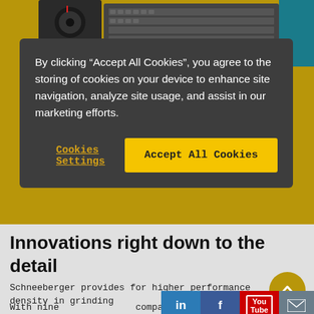[Figure (screenshot): Top portion of a webpage showing a keyboard and device in yellow background]
By clicking “Accept All Cookies”, you agree to the storing of cookies on your device to enhance site navigation, analyze site usage, and assist in our marketing efforts.
Cookies Settings
Accept All Cookies
Innovations right down to the detail
Schneeberger provides for higher performance density in grinding
With nine ... compact NGC ...